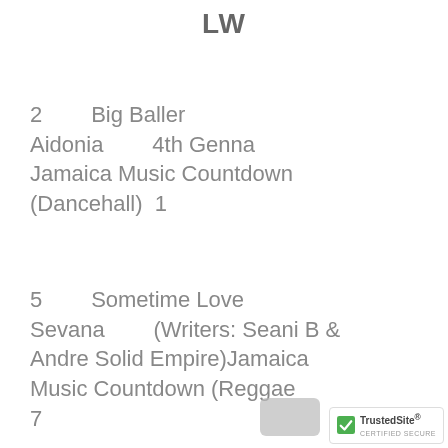LW
2    Big Baller
Aidonia    4th Genna
Jamaica Music Countdown (Dancehall)  1
5    Sometime Love
Sevana    (Writers: Seani B & Andre Solid Empire)Jamaica Music Countdown (Reggae
7